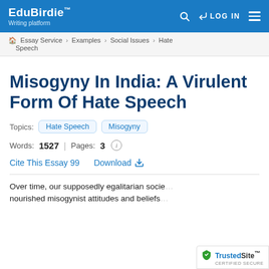EduBirdie™ Writing platform | LOG IN
Essay Service > Examples > Social Issues > Hate Speech
Misogyny In India: A Virulent Form Of Hate Speech
Topics: Hate Speech | Misogyny
Words: 1527 | Pages: 3
Cite This Essay 99   Download
Over time, our supposedly egalitarian socie… nourished misogynist attitudes and beliefs…